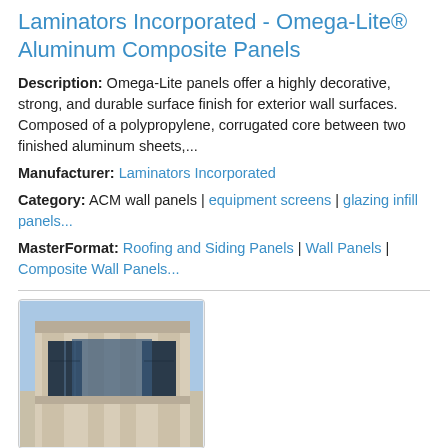Laminators Incorporated - Omega-Lite® Aluminum Composite Panels
Description: Omega-Lite panels offer a highly decorative, strong, and durable surface finish for exterior wall surfaces. Composed of a polypropylene, corrugated core between two finished aluminum sheets,...
Manufacturer: Laminators Incorporated
Category: ACM wall panels | equipment screens | glazing infill panels...
MasterFormat: Roofing and Siding Panels | Wall Panels | Composite Wall Panels...
[Figure (photo): Photo of a building exterior featuring aluminum composite panel cladding with columns and windows, blue sky in background]